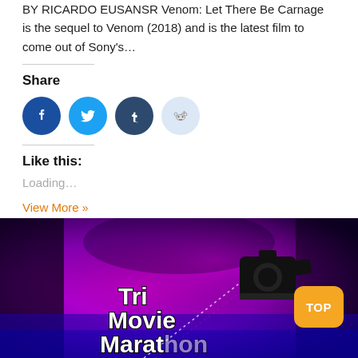BY RICARDO EUSANSR Venom: Let There Be Carnage is the sequel to Venom (2018) and is the latest film to come out of Sony's…
Share
[Figure (infographic): Social sharing icons: Facebook (dark blue), Twitter (light blue), Tumblr (dark teal), Reddit (light blue/grey)]
Like this:
Loading…
View More »
[Figure (illustration): Tri Movie Marathon banner image with magenta/purple/black dramatic background and movie camera silhouette. Orange 'TOP' button in lower right.]